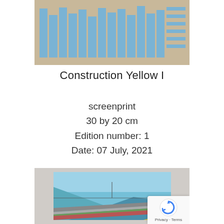[Figure (photo): Top portion of an artwork titled Construction Yellow I — a screenprint showing vertical blue bars on a tan/beige background with horizontal blue lines on the right side, framed print visible]
Construction Yellow I
screenprint
30 by 20 cm
Edition number: 1
Date: 07 July, 2021
[Figure (photo): Bottom portion of a second artwork — a framed screenprint with geometric shapes in shades of blue, grey, green, and red/pink suggesting a landscape or bridge scene with diagonal and horizontal forms]